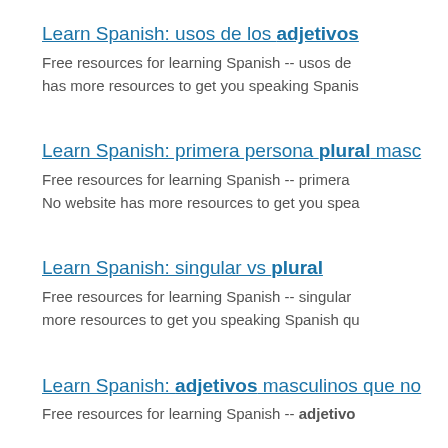Learn Spanish: usos de los adjetivos
Free resources for learning Spanish -- usos de has more resources to get you speaking Spanis
Learn Spanish: primera persona plural masc
Free resources for learning Spanish -- primera No website has more resources to get you spea
Learn Spanish: singular vs plural
Free resources for learning Spanish -- singular more resources to get you speaking Spanish qu
Learn Spanish: adjetivos masculinos que no
Free resources for learning Spanish -- adjetivo